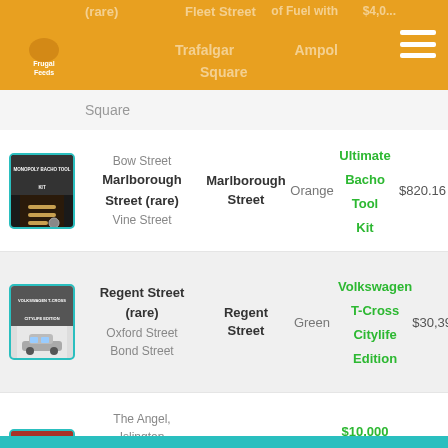Frugal Feeds — navigation header with logo and hamburger menu
Trafalgar Square
| Card Image | Streets | Fleet Street | Color | Prize | Value |
| --- | --- | --- | --- | --- | --- |
| [tool kit card] | Bow Street
Marlborough Street (rare)
Vine Street | Marlborough Street | Orange | Ultimate Bacho Tool Kit | $820.16 |
| [car card] | Regent Street (rare)
Oxford Street
Bond Street | Regent Street | Green | Volkswagen T-Cross Citylife Edition | $30,390 |
| [webjet card] | The Angel, Islington
Euston Road (rare)
Pentonville Road | Euston Road | Light Blue | $10,000 Webjet Egift Card | $10,000 |